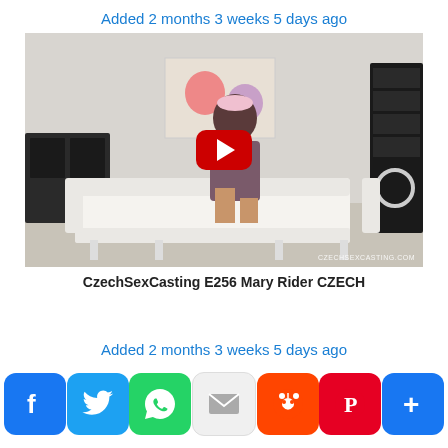Added 2 months 3 weeks 5 days ago
[Figure (screenshot): Video thumbnail screenshot showing a woman sitting on a white sofa in a studio setting with a YouTube-style red play button overlay. Watermark reads CZECHSEXCASTING.COM]
CzechSexCasting E256 Mary Rider CZECH
Added 2 months 3 weeks 5 days ago
[Figure (infographic): Social sharing bar with icons for Facebook, Twitter, WhatsApp, Email, Reddit, Pinterest, and More (+)]